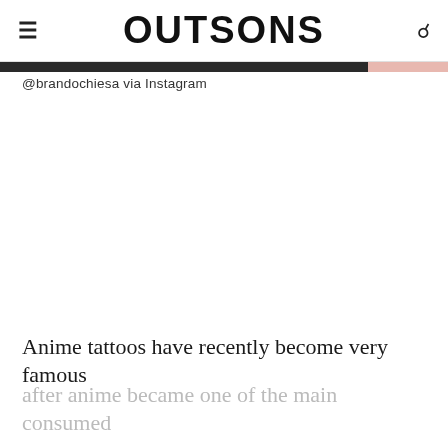OUTSONS
@brandochiesa via Instagram
Anime tattoos have recently become very famous
after anime became one of the main consumed